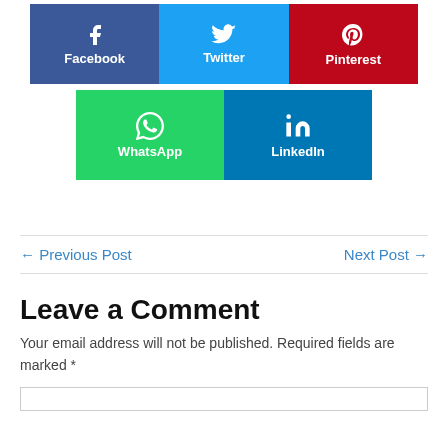[Figure (infographic): Social media share buttons: Facebook (blue), Twitter (light blue), Pinterest (red), WhatsApp (green), LinkedIn (blue)]
← Previous Post
Next Post →
Leave a Comment
Your email address will not be published. Required fields are marked *